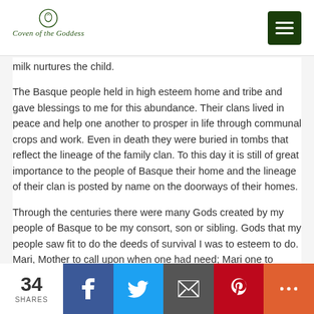Coven of the Goddess
milk nurtures the child.
The Basque people held in high esteem home and tribe and gave blessings to me for this abundance. Their clans lived in peace and help one another to prosper in life through communal crops and work. Even in death they were buried in tombs that reflect the lineage of the family clan. To this day it is still of great importance to the people of Basque their home and the lineage of their clan is posted by name on the doorways of their homes.
Through the centuries there were many Gods created by my people of Basque to be my consort, son or sibling. Gods that my people saw fit to do the deeds of survival I was to esteem to do. Mari, Mother to call upon when one had need; Mari one to appease that life would be fruitful and Mari Mother of Gods. Far and wide the name Mari spread to the people, my name changing and merging with the different cultures and languages. The people
34 SHARES  Facebook  Twitter  Email  Pinterest  More